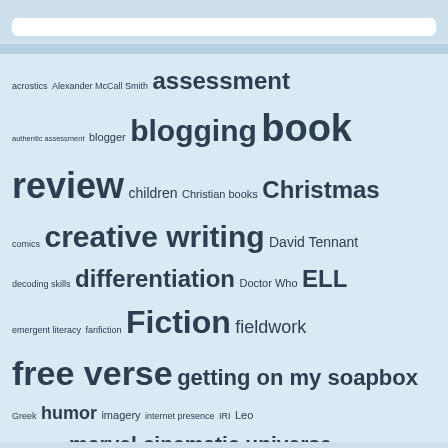[Figure (other): Tag cloud / word cloud showing various topics and tags in different font sizes based on frequency. Tags include: acrostics, Alexander McCall Smith, assessment, authentic assessment, blogger, blogging, book review, children, Christian books, Christmas, comics, creative writing, David Tennant, decoding skills, differentiation, Doctor Who, ELL, emergent literacy, fanfiction, Fiction, fieldwork, free verse, getting on my soapbox, Greek, humor, imagery, internet presence, IRI, Leo Tolstoy, love, marvel cinematic universe, Melody Carlson, metaphors, Middle-grade books, personal]